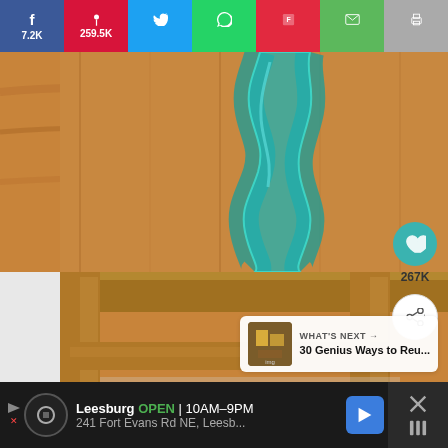Social share bar: Facebook 7.2K, Pinterest 259.5K, Twitter, WhatsApp, Flipboard, Email, Print
[Figure (photo): A wooden table with a river-like blue-green glass inlay running through the center of the tabletop, showing artistic live-edge woodworking. Overlays include a teal heart/like button showing 267K likes, a share button, and a 'WHAT'S NEXT' panel showing '30 Genius Ways to Reu...']
WHAT'S NEXT → 30 Genius Ways to Reu...
Ad: Leesburg OPEN 10AM–9PM | 241 Fort Evans Rd NE, Leesb...